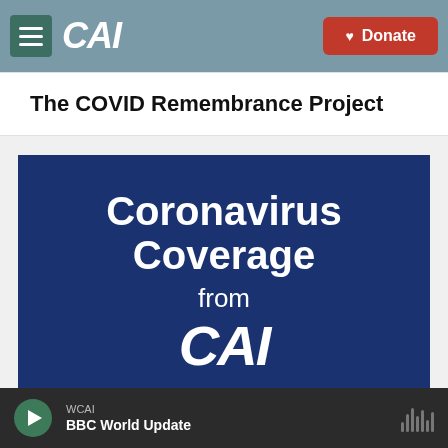CAI — Donate
The COVID Remembrance Project
[Figure (illustration): Dark blue banner image reading 'Coronavirus Coverage from CAI' with white bold text and the CAI logo]
WCAI — BBC World Update (audio player bar)